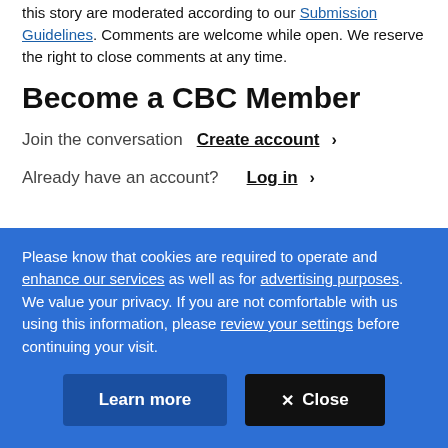this story are moderated according to our Submission Guidelines. Comments are welcome while open. We reserve the right to close comments at any time.
Become a CBC Member
Join the conversation  Create account  ›
Already have an account?  Log in  ›
Please know that cookies are required to operate and enhance our services as well as for advertising purposes. We value your privacy. If you are not comfortable with us using this information, please review your settings before continuing your visit.
Learn more
✕ Close